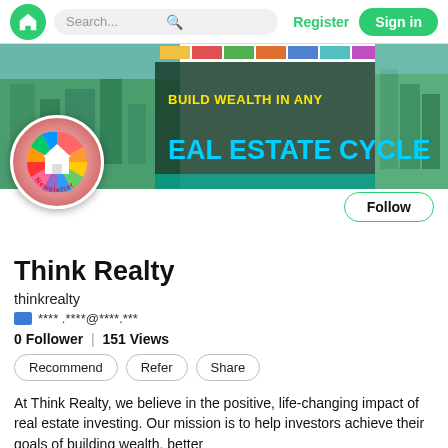Search... | Register | Sign in
[Figure (screenshot): Think Realty newsletter banner with aerial city images and text: BUILD WEALTH IN ANY REAL ESTATE CYCLE]
[Figure (logo): Think Realty circular logo with colorful house icon and 'Newsletter' text]
Follow
Think Realty
thinkrealty
**** .****@****.***
0 Follower | 151 Views
Recommend | Refer | Share
At Think Realty, we believe in the positive, life-changing impact of real estate investing. Our mission is to help investors achieve their goals of building wealth, better